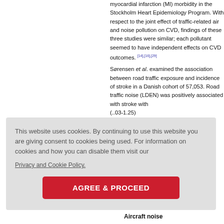myocardial infarction (MI) morbidity in the Stockholm Heart Epidemiology Program. With respect to the joint effect of traffic-related air and noise pollution on CVD, findings of these three studies were similar; each pollutant seemed to have independent effects on CVD outcomes. [14],[16],[29] Sørensen et al. examined the association between road traffic exposure and incidence of stroke in a Danish cohort of 57,053. Road traffic noise (LDEN) was positively associated with stroke with (..03-1.25) years an s of 55 an wed that was ) risk facto am SCOR Cardiolog
This website uses cookies. By continuing to use this website you are giving consent to cookies being used. For information on cookies and how you can disable them visit our Privacy and Cookie Policy.
Aircraft noise